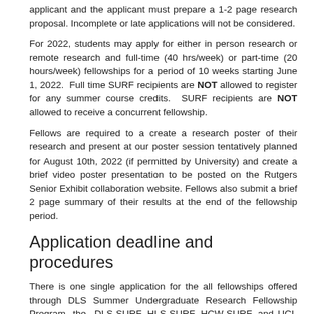applicant and the applicant must prepare a 1-2 page research proposal. Incomplete or late applications will not be considered.
For 2022, students may apply for either in person research or remote research and full-time (40 hrs/week) or part-time (20 hours/week) fellowships for a period of 10 weeks starting June 1, 2022. Full time SURF recipients are NOT allowed to register for any summer course credits. SURF recipients are NOT allowed to receive a concurrent fellowship.
Fellows are required to a create a research poster of their research and present at our poster session tentatively planned for August 10th, 2022 (if permitted by University) and create a brief video poster presentation to be posted on the Rutgers Senior Exhibit collaboration website. Fellows also submit a brief 2 page summary of their results at the end of the fellowship period.
Application deadline and procedures
There is one single application for the all fellowships offered through DLS Summer Undergraduate Research Fellowship Program- the DLS-SURF, HLS-SURF, HCW-SURF, and UCI-SURF. You may apply for more than one